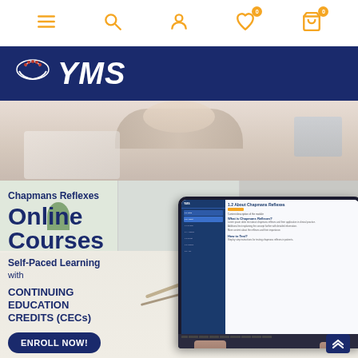Navigation bar with menu, search, account, wishlist (0), and cart (0) icons
[Figure (logo): YMS logo with hands icon on dark navy blue banner background]
[Figure (photo): Hero banner showing a person viewed from above working at a desk]
[Figure (photo): Background showing shelf with plants and a laptop screen showing '1.2 About Chapmans Reflexes' course content]
Chapmans Reflexes
Online Courses
Self-Paced Learning
with
CONTINUING EDUCATION CREDITS (CECs)
ENROLL NOW!